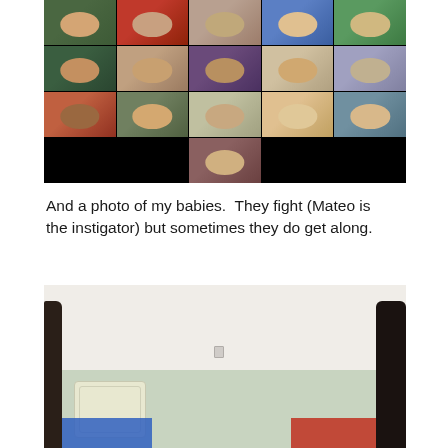[Figure (photo): Screenshot of a video call (e.g., Zoom) showing a grid of approximately 16 participants, each in their own tile, smiling and looking at the camera. Black background between tiles.]
And a photo of my babies.  They fight (Mateo is the instigator) but sometimes they do get along.
[Figure (photo): Photo of a bed with a white/cream wall behind it. There is a dark headboard on the right side, a smaller dark board on the left, a patterned pillow/bedding in the center, a blue blanket on the left side of the bed and a red/orange blanket on the right side.]